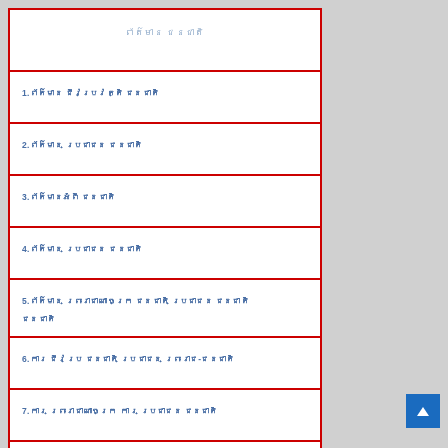ព័ត៌មាន ជនជាតិ
1.ព័ត៌មាន ជីវប្រវត្តិ ជនជាតិ
2.ព័ត៌មាន ប្រជាជន ជនជាតិ
3.ព័ត៌មានអំពី ជនជាតិ
4.ព័ត៌មាន ប្រជាជន ជនជាតិ
5.ព័ត៌មាន ព្រះរាជាណាចក្រ ជនជាតិ ប្រជាជន ជនជាតិ ជនជាតិ
6.ការ ជីវប្រ ជនជាតិ ប្រជាជន ព្រះរាជ-ជនជាតិ
7.ការ ព្រះរាជាណាចក្រ ការ ប្រជាជន ជនជាតិ
8.ព័ត៌មានអំពី ជីវប្រ ព្រះរាជាណាចក្រអំពី ជនជាតិ ជនជាតិ
9.ព័ត៌មានអំពីជនជាតិ ជនជាតិ ប្រជាជន ជីវប្រ ជនជាតិ
10.ព័ត៌មាន ព្រះរាជាណាចក្រ ព័ត៌មានអំពី ជនជាតិ ជនជាតិ ជនជាតិ